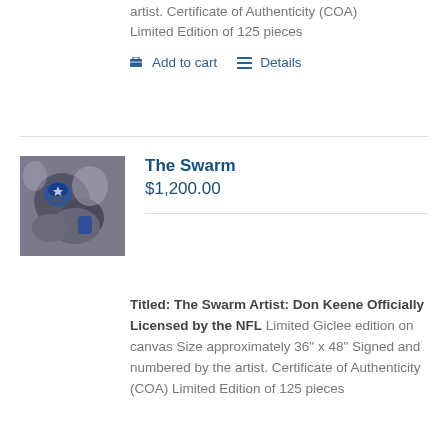artist. Certificate of Authenticity (COA) Limited Edition of 125 pieces
Add to cart   Details
[Figure (photo): Football players in action, showing a blue helmet and players in gray and blue uniforms in a pile]
The Swarm
$1,200.00
Titled: The Swarm Artist: Don Keene Officially Licensed by the NFL Limited Giclee edition on canvas Size approximately 36" x 48" Signed and numbered by the artist. Certificate of Authenticity (COA) Limited Edition of 125 pieces